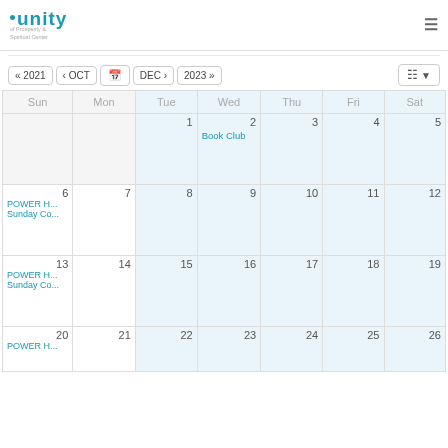Unity logo header with hamburger menu
[Figure (screenshot): Unity organization logo with teal color and tagline]
« 2021  < OCT  [calendar icon]  DEC >  2023 »  [grid view button]
| Sun | Mon | Tue | Wed | Thu | Fri | Sat |
| --- | --- | --- | --- | --- | --- | --- |
|  |  | 1 | 2
Book Club | 3 | 4 | 5 |
| 6
POWER H...
Sunday Co... | 7 | 8 | 9 | 10 | 11 | 12 |
| 13
POWER H...
Sunday Co... | 14 | 15 | 16 | 17 | 18 | 19 |
| 20
POWER H... | 21 | 22 | 23 | 24 | 25 | 26 |